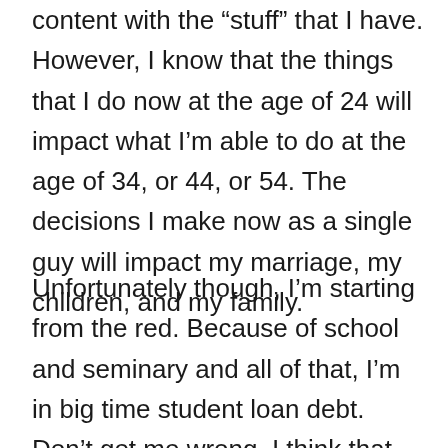content with the “stuff” that I have. However, I know that the things that I do now at the age of 24 will impact what I’m able to do at the age of 34, or 44, or 54. The decisions I make now as a single guy will impact my marriage, my children, and my family.
Unfortunately though, I’m starting from the red. Because of school and seminary and all of that, I’m in big time student loan debt. Don’t get me wrong, I think that debt was completely worth it